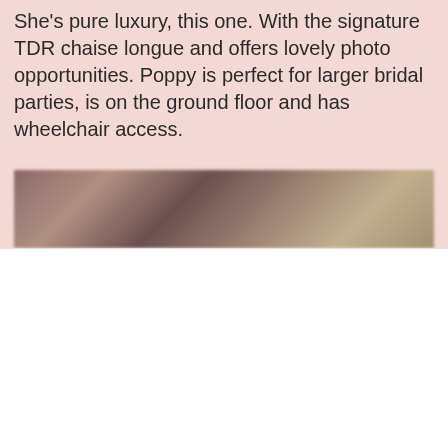She's pure luxury, this one. With the signature TDR chaise longue and offers lovely photo opportunities. Poppy is perfect for larger bridal parties, is on the ground floor and has wheelchair access.
[Figure (photo): Blurred photograph of what appears to be a bridal suite interior, partially visible behind a cookie consent overlay.]
We use cookies on our website to give you the most relevant experience by remembering your preferences and repeat visits. By clicking "Accept All", you consent to the use of ALL the cookies. However, you may visit "Cookie Settings" to provide a controlled consent.